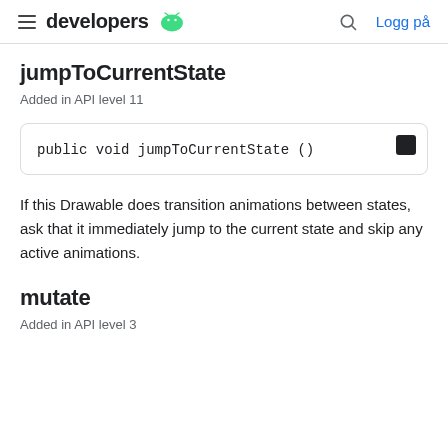developers | Logg på
jumpToCurrentState
Added in API level 11
public void jumpToCurrentState ()
If this Drawable does transition animations between states, ask that it immediately jump to the current state and skip any active animations.
mutate
Added in API level 3